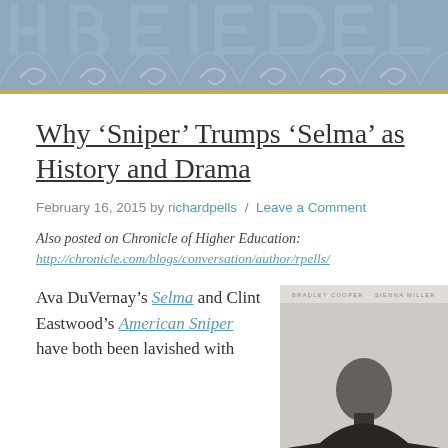[Figure (illustration): Decorative header banner with blue-grey background and ornamental scroll/wave patterns in a lighter tone]
Why ‘Sniper’ Trumps ‘Selma’ as History and Drama
February 16, 2015 by richardpells / Leave a Comment
Also posted on Chronicle of Higher Education: http://chronicle.com/blogs/conversation/author/rpells/
Ava DuVernay’s Selma and Clint Eastwood’s American Sniper have both been lavished with
[Figure (photo): Movie poster for American Sniper showing Bradley Cooper and Sienna Miller at top, with a figure's head visible from behind at the bottom]